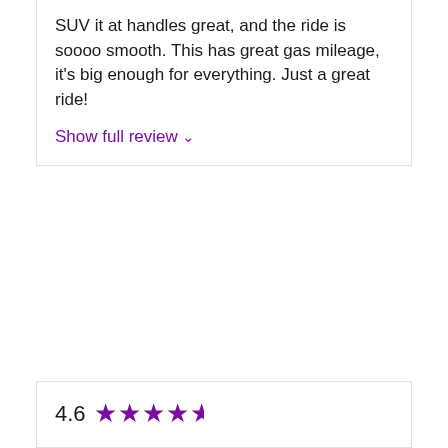SUV it at handles great, and the ride is soooo smooth. This has great gas mileage, it's big enough for everything. Just a great ride!
Show full review ∨
4.6 ★★★★½